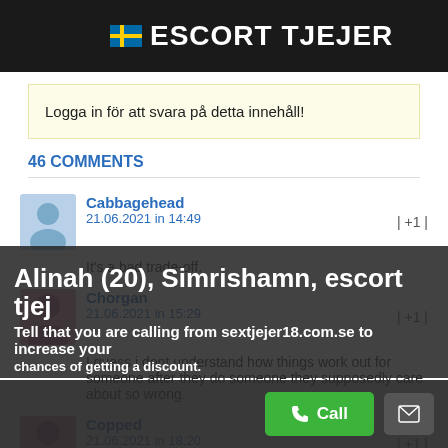ESCORT TJEJER
Logga in för att svara på detta innehåll!
46 COMMENTS
Cabbagehead
21.06.2021 in 14:49
| +1 |
It's a bad trade-off.
Chorgan
21.06.2021 in 15:29
| +1 |
I guess i dont understand how things work out for someone after they do someone they supposedly care about so wrong.
Copped
21.06.2021 in 18:20
| +1 |
Anyways, regarding this, I'd not suggest you go to her asking for financial aid from you. I'm guessing your relationship has progressed to
Alinah (20), Simrishamn, escort tjej
Tell that you are calling from sextjejer18.com.se to increase your chances of getting a discount.